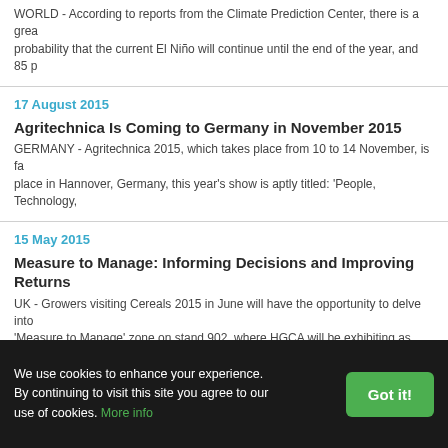WORLD - According to reports from the Climate Prediction Center, there is a great probability that the current El Niño will continue until the end of the year, and 85 p
17 August 2015
Agritechnica Is Coming to Germany in November 2015
GERMANY - Agritechnica 2015, which takes place from 10 to 14 November, is fa place in Hannover, Germany, this year's show is aptly titled: 'People, Technology,
15 May 2015
Measure to Manage: Informing Decisions and Improving Returns
UK - Growers visiting Cereals 2015 in June will have the opportunity to delve into 'Measure to Manage' zone on stand 902, where HGCA will be exhibiting as AHDB
13 May 2015
CME: Good Crop Plantings Cause Futures Decline
US - Crop plantings are off to an excellent start this year and this has contributed corn futures prices so far this spring, write Steve Meyer and Len Steiner....
We use cookies to enhance your experience. By continuing to visit this site you agree to our use of cookies. More info